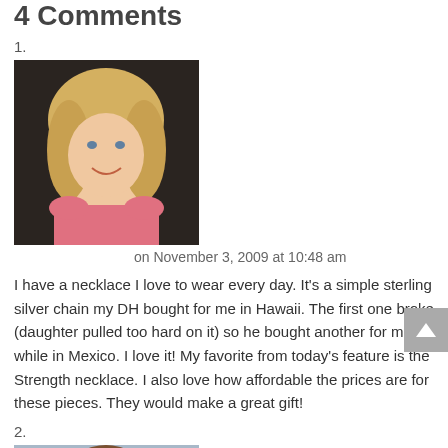4 Comments
1.
[Figure (photo): Profile photo of a blonde woman smiling, wearing a pink top]
on November 3, 2009 at 10:48 am
I have a necklace I love to wear every day. It's a simple sterling silver chain my DH bought for me in Hawaii. The first one broke (daughter pulled too hard on it) so he bought another for me while in Mexico. I love it! My favorite from today's feature is the Strength necklace. I also love how affordable the prices are for these pieces. They would make a great gift!
2.
[Figure (photo): Profile photo of a brunette woman smiling, wearing a white top with a necklace]